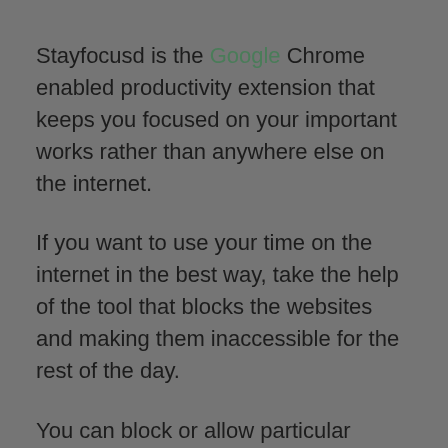Stayfocusd is the Google Chrome enabled productivity extension that keeps you focused on your important works rather than anywhere else on the internet.
If you want to use your time on the internet in the best way, take the help of the tool that blocks the websites and making them inaccessible for the rest of the day.
You can block or allow particular subdomains, the whole site, specific pages, some videos, games and images